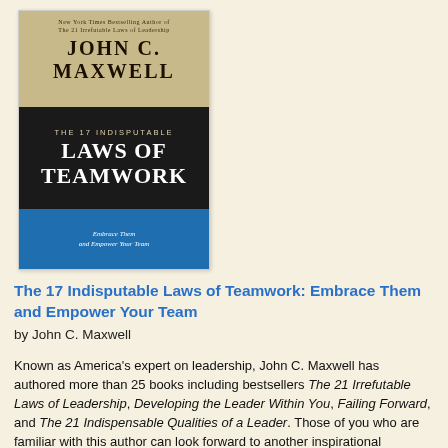[Figure (illustration): Book cover of 'The 17 Indisputable Laws of Teamwork: Embrace Them and Empower Your Team' by John C. Maxwell. Top section is tan/beige with author name in large serif font. Middle section is dark/black with title text. Bottom section is blue with subtitle text.]
The 17 Indisputable Laws of Teamwork: Embrace Them and Empower Your Team
by John C. Maxwell
Known as America's expert on leadership, John C. Maxwell has authored more than 25 books including bestsellers The 21 Irrefutable Laws of Leadership, Developing the Leader Within You, Failing Forward, and The 21 Indispensable Qualities of a Leader. Those of you who are familiar with this author can look forward to another inspirational masterpiece that will leave you eager to dive into and enjoy the process of team-building.